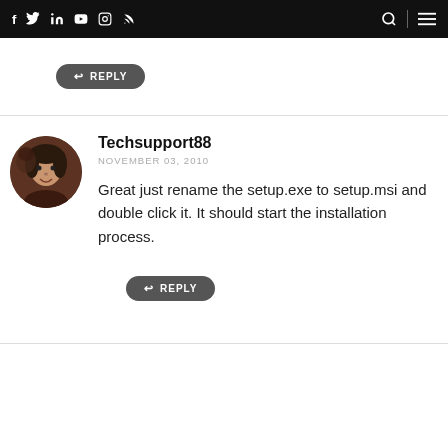f  Twitter  in  YouTube  Instagram  RSS  [search]  [menu]
REPLY
Techsupport88
NOVEMBER 03, 2010
Great just rename the setup.exe to setup.msi and double click it. It should start the installation process.
REPLY